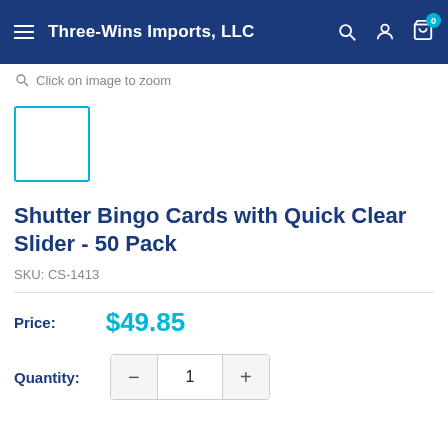Three-Wins Imports, LLC
Click on image to zoom
[Figure (photo): Thumbnail image placeholder with teal border]
Shutter Bingo Cards with Quick Clear Slider - 50 Pack
SKU: CS-1413
Price: $49.85
Quantity: 1